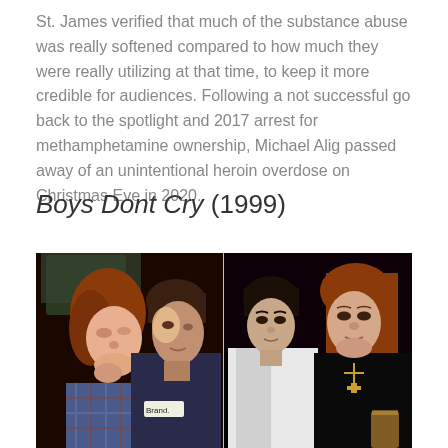St. James verified that much of the substance abuse was really softened compared to how much they were really utilizing at that time, to keep it more credible for audiences. Following a not successful go back to the spotlight and 2017 arrest for methamphetamine ownership, Michael Alig passed away of an unintentional heroin overdose on Christmas Eve in 2020.
Boys Dont Cry (1999)
[Figure (photo): A composite of two photographs side by side: on the left, two people in dim dramatic lighting close together, one with red hair in a plaid shirt and another in a dark jacket; on the right, two people posing together, one with short dark hair in a white jacket and another with long red hair in a dark outfit with a cross necklace.]